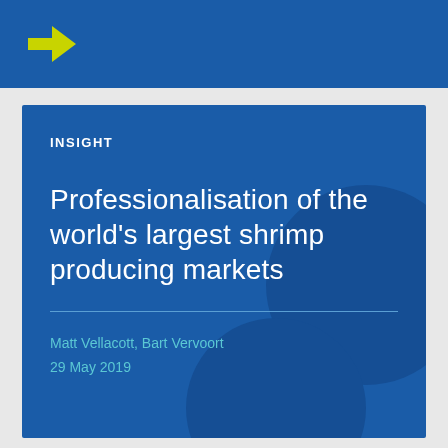→
INSIGHT
Professionalisation of the world's largest shrimp producing markets
Matt Vellacott, Bart Vervoort
29 May 2019